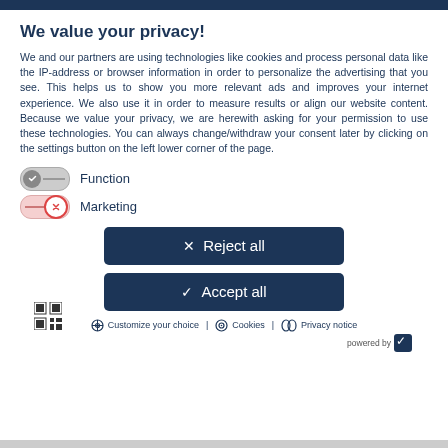We value your privacy!
We and our partners are using technologies like cookies and process personal data like the IP-address or browser information in order to personalize the advertising that you see. This helps us to show you more relevant ads and improves your internet experience. We also use it in order to measure results or align our website content. Because we value your privacy, we are herewith asking for your permission to use these technologies. You can always change/withdraw your consent later by clicking on the settings button on the left lower corner of the page.
Function
Marketing
✕ Reject all
✓ Accept all
Customize your choice | Cookies | Privacy notice powered by